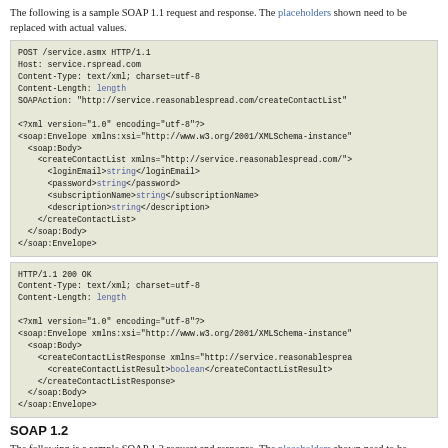The following is a sample SOAP 1.1 request and response. The placeholders shown need to be replaced with actual values.
POST /service.asmx HTTP/1.1
Host: service.rspread.com
Content-Type: text/xml; charset=utf-8
Content-Length: length
SOAPAction: "http://service.reasonablespread.com/createContactList"

<?xml version="1.0" encoding="utf-8"?>
<soap:Envelope xmlns:xsi="http://www.w3.org/2001/XMLSchema-instance"
  <soap:Body>
    <createContactList xmlns="http://service.reasonablespread.com/">
      <loginEmail>string</loginEmail>
      <password>string</password>
      <subscriptionName>string</subscriptionName>
      <description>string</description>
    </createContactList>
  </soap:Body>
</soap:Envelope>
HTTP/1.1 200 OK
Content-Type: text/xml; charset=utf-8
Content-Length: length

<?xml version="1.0" encoding="utf-8"?>
<soap:Envelope xmlns:xsi="http://www.w3.org/2001/XMLSchema-instance"
  <soap:Body>
    <createContactListResponse xmlns="http://service.reasonablesprea
      <createContactListResult>boolean</createContactListResult>
    </createContactListResponse>
  </soap:Body>
</soap:Envelope>
SOAP 1.2
The following is a sample SOAP 1.2 request and response. The placeholders shown need to be replaced with actual values.